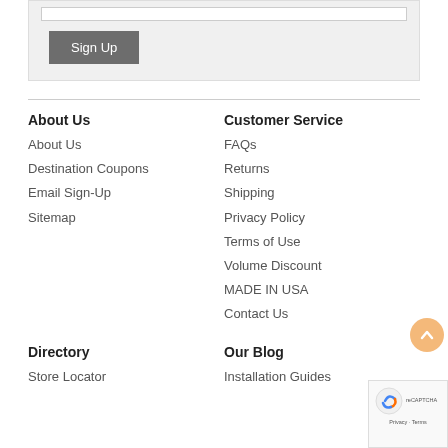[Figure (screenshot): Input text field (white bar) at top of sign-up form section]
Sign Up
About Us
About Us
Destination Coupons
Email Sign-Up
Sitemap
Customer Service
FAQs
Returns
Shipping
Privacy Policy
Terms of Use
Volume Discount
MADE IN USA
Contact Us
Directory
Store Locator
Our Blog
Installation Guides